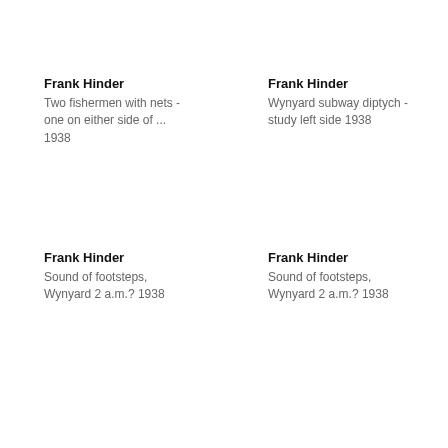Frank Hinder
Two fishermen with nets - one on either side of ... 1938
Frank Hinder
Wynyard subway diptych - study left side 1938
Frank Hinder
Sound of footsteps, Wynyard 2 a.m.? 1938
Frank Hinder
Sound of footsteps, Wynyard 2 a.m.? 1938